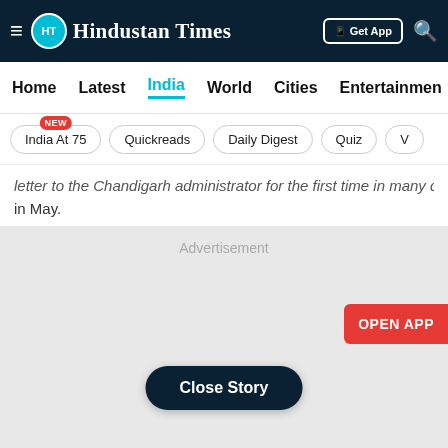Hindustan Times
Home | Latest | India | World | Cities | Entertainment
India At 75 NEW | Quickreads | Daily Digest | Quiz | V
...letter to the Chandigarh administrator for the first time in many days in May.
[Figure (other): Advertisement placeholder grey box with text 'Advertisement' at top, an 'OPEN APP' red button on the right side, and a 'Close Story' dark pill button at the bottom center.]